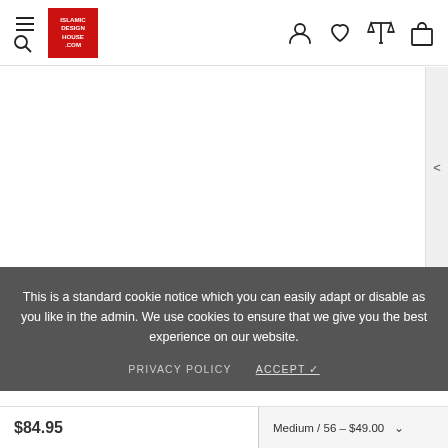[Figure (logo): Islamic Design House logo: red square with white text ISLAMIC DESIGN HOUSE .COM]
[Figure (screenshot): Navigation header with hamburger/search icon on left, logo in center-left, and user/wishlist/compare/cart icons on right]
[Figure (photo): Main product image area - white/blank product display area with side arrow navigation]
This is a standard cookie notice which you can easily adapt or disable as you like in the admin. We use cookies to ensure that we give you the best experience on our website.
PRIVACY POLICY    ACCEPT ✓
$84.95    Medium / 56 – $49.00